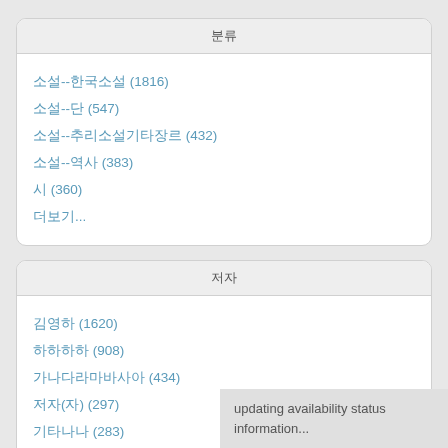분류
소설--한국소설 (1816)
소설--단 (547)
소설--추리소설기타장르 (432)
소설--역사 (383)
시 (360)
더보기...
저자
김영하 (1620)
하하하하 (908)
가나다라마바사아 (434)
저자(자) (297)
기타나나 (283)
더보기...
updating availability status information...